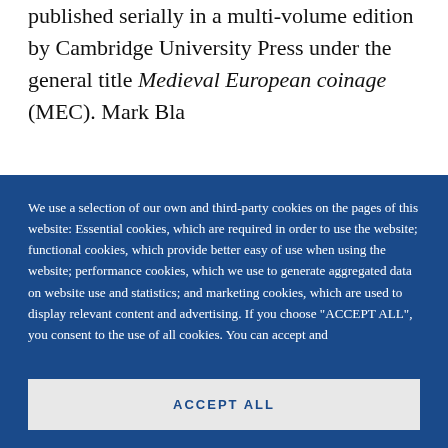published serially in a multi-volume edition by Cambridge University Press under the general title Medieval European coinage (MEC). Mark Bla...
We use a selection of our own and third-party cookies on the pages of this website: Essential cookies, which are required in order to use the website; functional cookies, which provide better easy of use when using the website; performance cookies, which we use to generate aggregated data on website use and statistics; and marketing cookies, which are used to display relevant content and advertising. If you choose "ACCEPT ALL", you consent to the use of all cookies. You can accept and
ACCEPT ALL